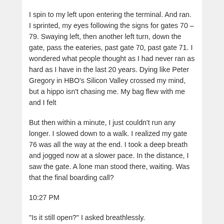I spin to my left upon entering the terminal. And ran. I sprinted, my eyes following the signs for gates 70 – 79. Swaying left, then another left turn, down the gate, pass the eateries, past gate 70, past gate 71. I wondered what people thought as I had never ran as hard as I have in the last 20 years. Dying like Peter Gregory in HBO’s Silicon Valley crossed my mind, but a hippo isn’t chasing me. My bag flew with me and I felt
But then within a minute, I just couldn’t run any longer. I slowed down to a walk. I realized my gate 76 was all the way at the end. I took a deep breath and jogged now at a slower pace. In the distance, I saw the gate. A lone man stood there, waiting. Was that the final boarding call?
10:27 PM
“Is it still open?” I asked breathlessly.
“Yes!”
I reached to get explicit boarding pass. “And the